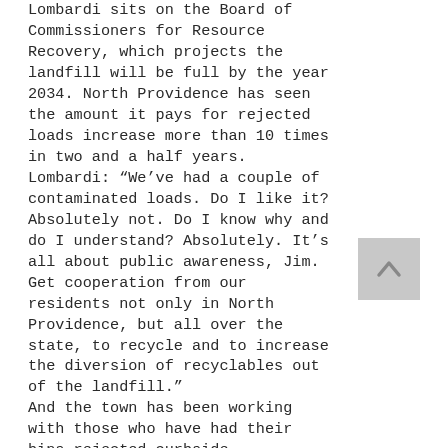Lombardi sits on the Board of Commissioners for Resource Recovery, which projects the landfill will be full by the year 2034. North Providence has seen the amount it pays for rejected loads increase more than 10 times in two and a half years. Lombardi: “We’ve had a couple of contaminated loads. Do I like it? Absolutely not. Do I know why and do I understand? Absolutely. It’s all about public awareness, Jim. Get cooperation from our residents not only in North Providence, but all over the state, to recycle and to increase the diversion of recyclables out of the landfill.” And the town has been working with those who have had their bins rejected curbside. Lombardi: “We’ll take a picture. Of your home, maybe the apartment complex. And you’re saying to us, aw I recycle and we show you the picture. Is that recycling? Now we want to work with you. We don’t want to say okay we’re not